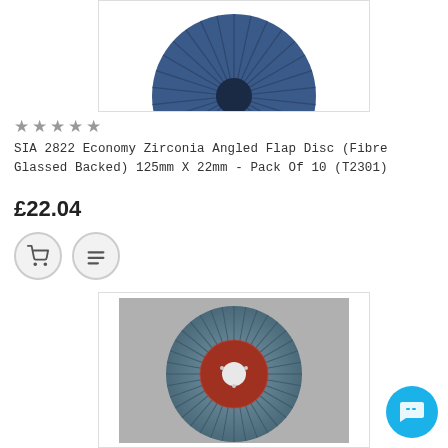[Figure (photo): Top portion of a blue zirconia angled flap disc on white background, partially cropped at top]
★★★★★
SIA 2822 Economy Zirconia Angled Flap Disc (Fibre Glassed Backed) 125mm X 22mm - Pack Of 10 (T2301)
£22.04
[Figure (photo): A blue/grey zirconia flap disc viewed from the front, with a red fibre glass backing and white centre hole, on grey background]